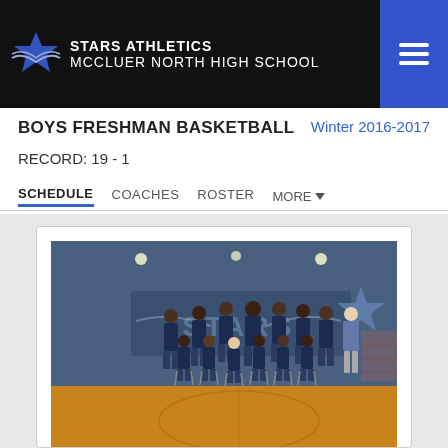STARS ATHLETICS
MCCLUER NORTH HIGH SCHOOL
BOYS FRESHMAN BASKETBALL
Winter 2016-2017
RECORD: 19 - 1
SCHEDULE | COACHES | ROSTER | MORE
[Figure (photo): Boys freshman basketball team photo taken in gymnasium with 'STARS' painted on the wall. Two rows of players in dark navy uniforms with a coach in a suit on the far right.]